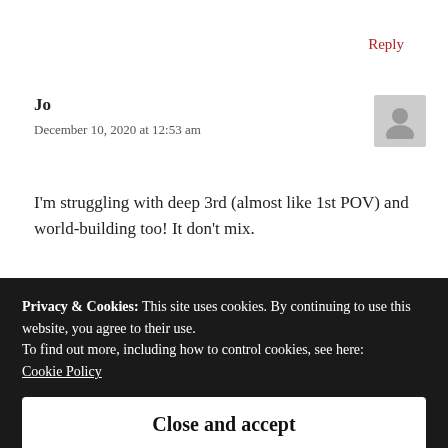Reply
Jo
December 10, 2020 at 12:53 am
I'm struggling with deep 3rd (almost like 1st POV) and world-building too! It don't mix.
But, 3rd zooming in and out of deep POV might, I'm gonna
Privacy & Cookies: This site uses cookies. By continuing to use this website, you agree to their use.
To find out more, including how to control cookies, see here:
Cookie Policy
Close and accept
Pingback: SFFdirect is back in action! With a sneak peek at